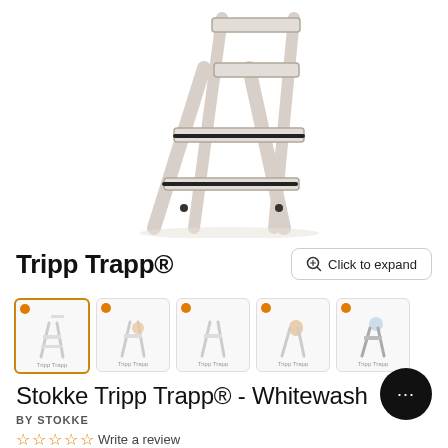[Figure (photo): Stokke Tripp Trapp high chair in whitewash finish, photographed from a low angle showing the back and side of the chair structure against a white background]
Tripp Trapp®
Click to expand
[Figure (photo): Row of 5 product thumbnail images showing the Tripp Trapp chair in various views and configurations, the first thumbnail is selected with an orange border]
Stokke Tripp Trapp® - Whitewash
BY STOKKE
Write a review